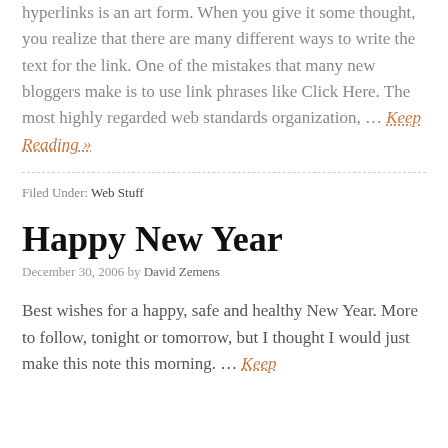hyperlinks is an art form. When you give it some thought, you realize that there are many different ways to write the text for the link. One of the mistakes that many new bloggers make is to use link phrases like Click Here. The most highly regarded web standards organization, … Keep Reading »
Filed Under: Web Stuff
Happy New Year
December 30, 2006 by David Zemens
Best wishes for a happy, safe and healthy New Year. More to follow, tonight or tomorrow, but I thought I would just make this note this morning. … Keep